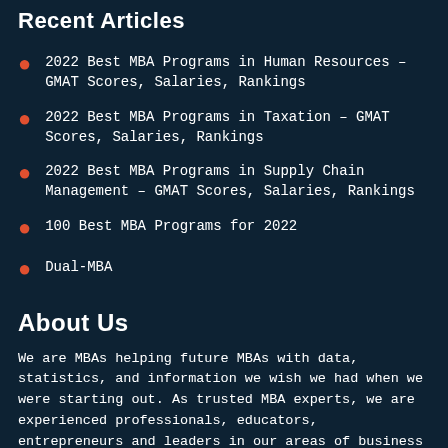Recent Articles
2022 Best MBA Programs in Human Resources – GMAT Scores, Salaries, Rankings
2022 Best MBA Programs in Taxation – GMAT Scores, Salaries, Rankings
2022 Best MBA Programs in Supply Chain Management – GMAT Scores, Salaries, Rankings
100 Best MBA Programs for 2022
Dual-MBA
About Us
We are MBAs helping future MBAs with data, statistics, and information we wish we had when we were starting out. As trusted MBA experts, we are experienced professionals, educators, entrepreneurs and leaders in our areas of business concentration.